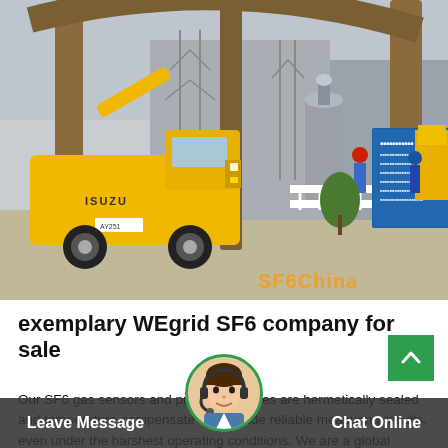[Figure (photo): An Isuzu yellow utility truck parked at an electrical substation construction site with large transformer structures, workers in hard hats, a blue information sign board, and white fencing. SF6China watermark visible.]
exemplary WEgrid SF6 company for sale
Our SF6 gas sensors and pressure gauges are hermetically sealed and temperature-compensated to provide reliable measuring results, even under the harshest operating conditions. We are a global leader
[Figure (photo): Customer service representative avatar with headset, shown in circular frame with green border, overlaying the bottom navigation bar.]